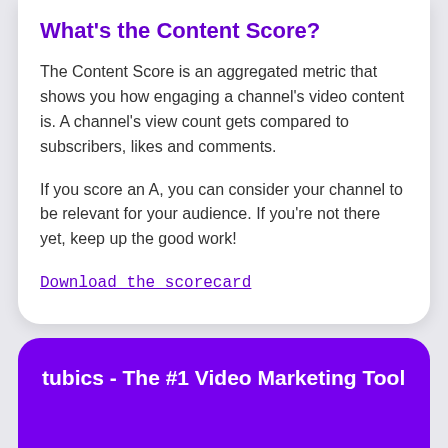What's the Content Score?
The Content Score is an aggregated metric that shows you how engaging a channel's video content is. A channel's view count gets compared to subscribers, likes and comments.
If you score an A, you can consider your channel to be relevant for your audience. If you're not there yet, keep up the good work!
Download the scorecard
tubics - The #1 Video Marketing Tool